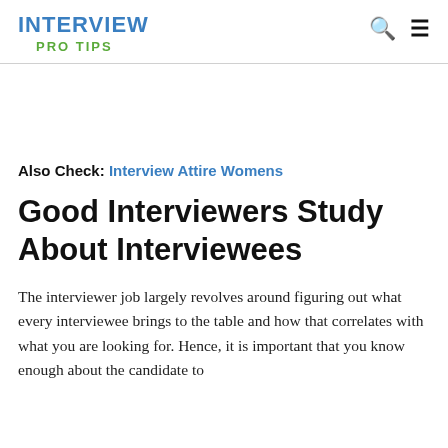INTERVIEW PRO TIPS
Also Check: Interview Attire Womens
Good Interviewers Study About Interviewees
The interviewer job largely revolves around figuring out what every interviewee brings to the table and how that correlates with what you are looking for. Hence, it is important that you know enough about the candidate to